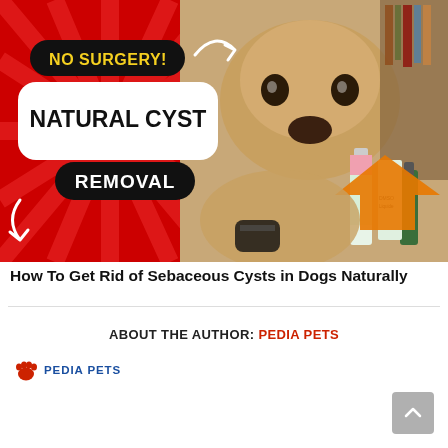[Figure (illustration): Promotional thumbnail image showing a Labrador dog on a red starburst background with text 'NO SURGERY! NATURAL CYST REMOVAL' on the left half, and a photo of the dog with product bottles and an orange arrow on the right half.]
How To Get Rid of Sebaceous Cysts in Dogs Naturally
ABOUT THE AUTHOR: PEDIA PETS
[Figure (logo): Pedia Pets logo with red paw print icon and blue text 'PEDIA PETS']